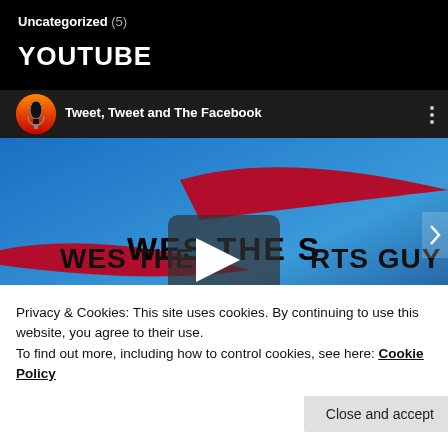Uncategorized (5)
YOUTUBE
[Figure (screenshot): YouTube video player showing 'Tweet, Tweet and The Facebook' with channel logo (microphone icon on red/orange circle), video title in top bar, three-dot menu, and a blue background branded video thumbnail showing 'WES THE SPORTS GUY' text with red swoosh design and a play button overlay in the center.]
Privacy & Cookies: This site uses cookies. By continuing to use this website, you agree to their use.
To find out more, including how to control cookies, see here: Cookie Policy
Close and accept